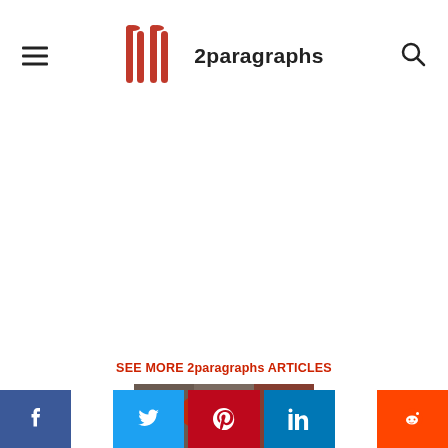2paragraphs
[Figure (other): Large blank advertisement area in the center of the page]
SEE MORE 2paragraphs ARTICLES
[Figure (photo): Partial article preview image showing bottles, with 'Curated by' overlay text]
[Figure (other): Social sharing buttons row: Facebook (blue), Twitter (light blue), Pinterest (red), LinkedIn (blue), Reddit (orange-red)]